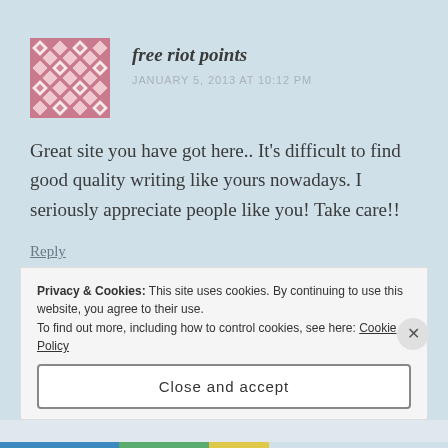[Figure (illustration): Pink and white geometric diamond/cross pattern avatar image, square, about 80x80px]
free riot points
JANUARY 5, 2013 AT 10:12 PM
Great site you have got here.. It’s difficult to find good quality writing like yours nowadays. I seriously appreciate people like you! Take care!!
Reply
Privacy & Cookies: This site uses cookies. By continuing to use this website, you agree to their use.
To find out more, including how to control cookies, see here: Cookie Policy
Close and accept